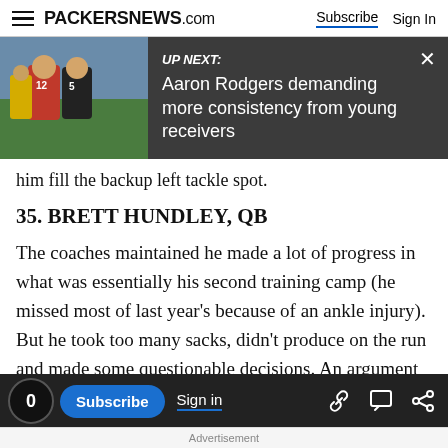PACKERSNEWS.com  Subscribe  Sign In
[Figure (screenshot): UP NEXT: Aaron Rodgers demanding more consistency from young receivers — video overlay banner with football player thumbnail]
him fill the backup left tackle spot.
35. BRETT HUNDLEY, QB
The coaches maintained he made a lot of progress in what was essentially his second training camp (he missed most of last year's because of an ankle injury). But he took too many sacks, didn't produce on the run and made some questionable decisions. An argument could be made that
Advertisement